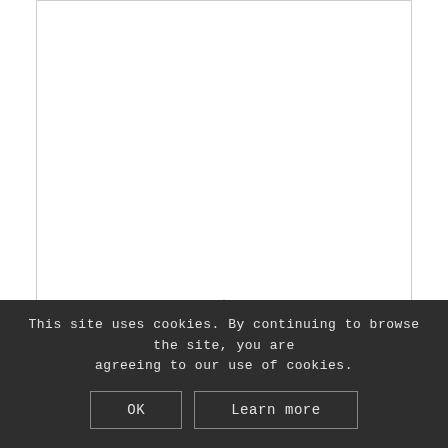[Figure (other): White card area with border, partially visible content area with a small upward chevron arrow at the bottom center of the card border]
Simply Fjords
This site uses cookies. By continuing to browse the site, you are agreeing to our use of cookies.
OK
Learn more